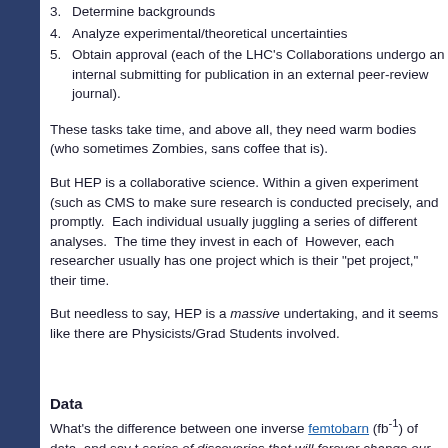3. Determine backgrounds
4. Analyze experimental/theoretical uncertainties
5. Obtain approval (each of the LHC's Collaborations undergo an internal submitting for publication in an external peer-review journal).
These tasks take time, and above all, they need warm bodies (who sometimes Zombies, sans coffee that is).
But HEP is a collaborative science. Within a given experiment (such as CMS to make sure research is conducted precisely, and promptly.  Each individual usually juggling a series of different analyses.  The time they invest in each of However, each researcher usually has one project which is their "pet project," their time.
But needless to say, HEP is a massive undertaking, and it seems like there are Physicists/Grad Students involved.
Data
What's the difference between one inverse femtobarn (fb⁻¹) of data, and say t series of discoveries that will forever change our understanding of the universe
Humor aside, the experiments at the LHC have collected over 1 fb⁻¹ of data th been several times in which we collected more data in a day than we did in all